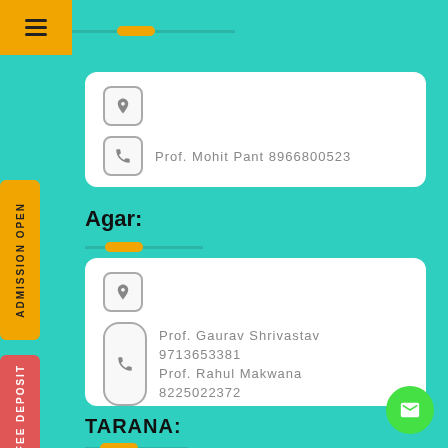[Figure (infographic): Top menu icon (hamburger) on yellow/orange background]
[Figure (infographic): Decorative horizontal line with orange pill at top]
Prof. Mohit Pant 8966800523
Agar:
Prof. Gaurav Shrivastav 9713653381 Prof. Rahul Makwana 8225022372
TARANA:
ADMISSION OPEN
ONLINE FEE DEPOSIT